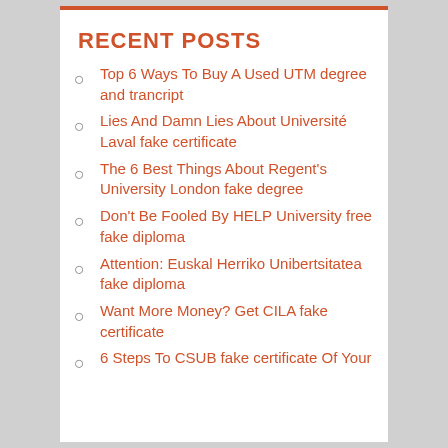RECENT POSTS
Top 6 Ways To Buy A Used UTM degree and trancript
Lies And Damn Lies About Université Laval fake certificate
The 6 Best Things About Regent's University London fake degree
Don't Be Fooled By HELP University free fake diploma
Attention: Euskal Herriko Unibertsitatea fake diploma
Want More Money? Get CILA fake certificate
6 Steps To CSUB fake certificate Of Your